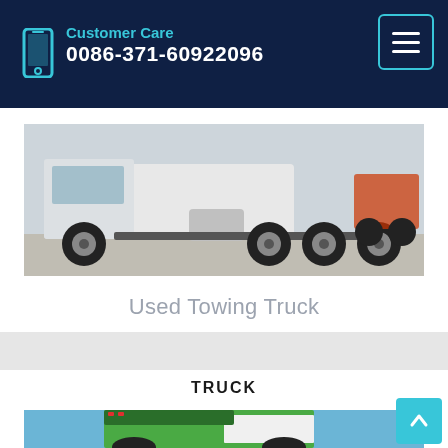Customer Care 0086-371-60922096
[Figure (photo): Side view of a used towing truck (semi tractor without trailer) on a concrete lot, white and black cab with silver fuel tank and large rear axles]
Used Towing Truck
TRUCK
[Figure (photo): Green truck cab photographed from front-left angle against a blue sky]